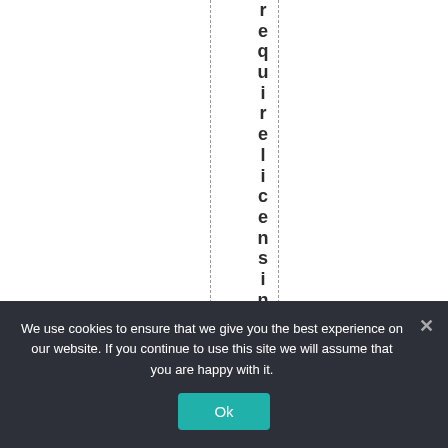requirelicensingou
We use cookies to ensure that we give you the best experience on our website. If you continue to use this site we will assume that you are happy with it.
Ok